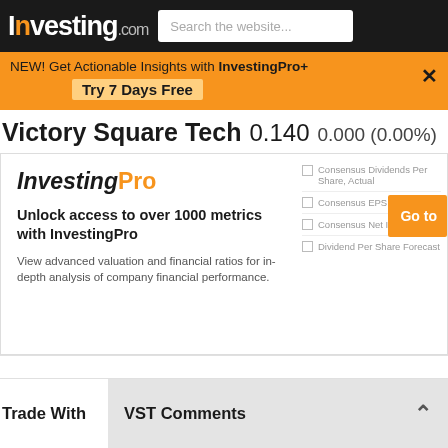Investing.com — Search the website...
NEW! Get Actionable Insights with InvestingPro+ Try 7 Days Free
Victory Square Tech  0.140  0.000 (0.00%)
[Figure (infographic): InvestingPro promotional card: logo 'InvestingPro', headline 'Unlock access to over 1000 metrics with InvestingPro', subtext 'View advanced valuation and financial ratios for in-depth analysis of company financial performance.' Right side shows greyed-out metrics: 'Consensus Dividends Per Share, Actual', 'Consensus EPS, Actual', 'Consensus Net Income...', 'Dividend Per Share Forecast', with an orange 'Go to' button.]
Trade With
VST Comments